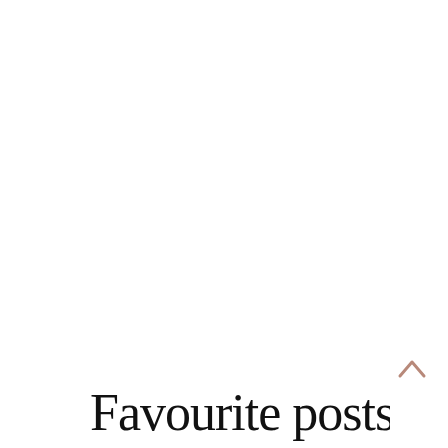[Figure (illustration): Decorative cursive/script handwritten text reading 'Favourite posts' partially visible at the bottom of the page, with a small chevron/arrow up navigation icon in the bottom right corner.]
Favourite posts